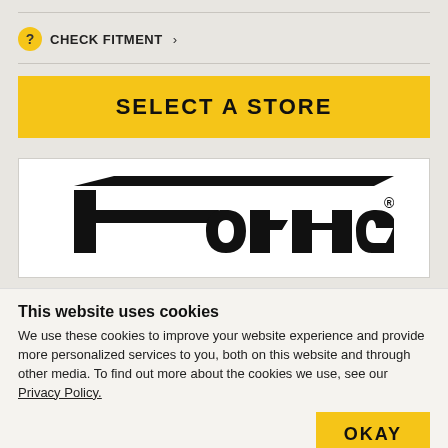CHECK FITMENT >
SELECT A STORE
[Figure (logo): Forney logo — stylized italic black lettering on white background with registered trademark symbol]
This website uses cookies
We use these cookies to improve your website experience and provide more personalized services to you, both on this website and through other media. To find out more about the cookies we use, see our Privacy Policy.
OKAY